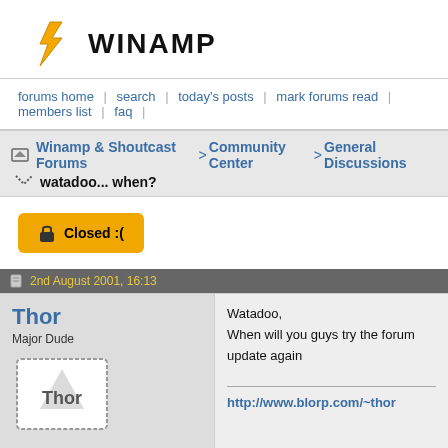[Figure (logo): Winamp logo: orange lightning bolt icon with WINAMP text]
forums home | search | today's posts | mark forums read | members list | faq |
Winamp & Shoutcast Forums > Community Center > General Discussions
watadoo... when?
Closed :(
2nd August 2001, 16:13
Thor
Major Dude
Join Date: May 2000
Location: Gent, Belgium (Europe)
Posts: 968
Watadoo,
When will you guys try the forum update again
http://www.blorp.com/~thor